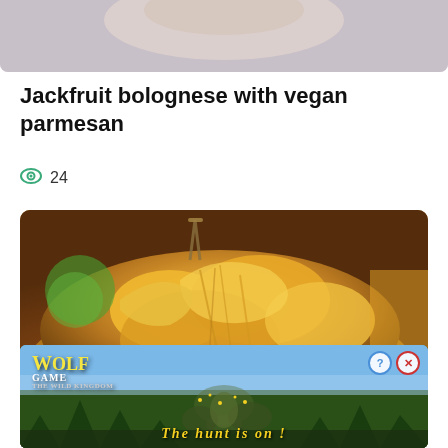[Figure (photo): Top portion of a food photo cropped at top of page, showing a blurred background]
Jackfruit bolognese with vegan parmesan
24
[Figure (photo): Close-up food photo of cheesy jackfruit bolognese pasta dish being lifted with a fork, showing melted cheese strings]
[Figure (photo): Advertisement banner for Wolf Game: The Wild Kingdom showing wolves and text 'The Hunt Is On!' with close/info buttons]